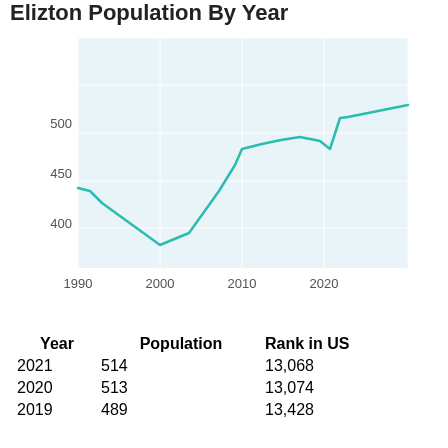Elizton Population By Year
[Figure (line-chart): Elizton Population By Year]
| Year | Population | Rank in US |
| --- | --- | --- |
| 2021 | 514 | 13,068 |
| 2020 | 513 | 13,074 |
| 2019 | 489 | 13,428 |